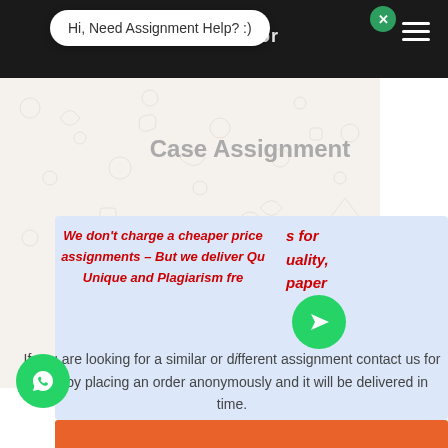UnemployedProfessors
Hi, Need Assignment Help? :)
Case Assignment
We don't charge a cheaper price for assignments – But we deliver Quality, Unique and Plagiarism free paper
If you are looking for a similar or different assignment contact us for help by placing an order anonymously and it will be delivered in time.